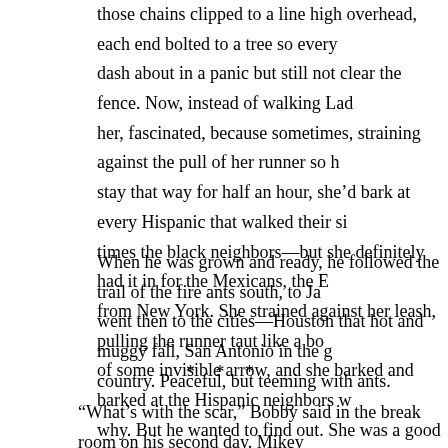those chains clipped to a line high overhead, each end bolted to a tree so every dash about in a panic but still not clear the fence. Now, instead of walking Lad her, fascinated, because sometimes, straining against the pull of her runner so h stay that way for half an hour, she'd bark at every Hispanic that walked their si times the black neighbors—but she definitely had it in for the Mexicans, the E from New York. She strained against her leash, pulling the runner taut like a bo of some invisible arrow, and she barked and barked at the Hispanic neighbors w why. But he wanted to find out. She was a good dog in every respect he knew a must be good too.
When he was grown and ready, he followed the trail of the fire ants south, to Ja went then to the cities—Houston that hot and muggy fall, San Antonio in the g country. Peaceful, but teeming with ants.
* * *
“What’s with the scar,” Bobby said in the break room on his second day. Mikey